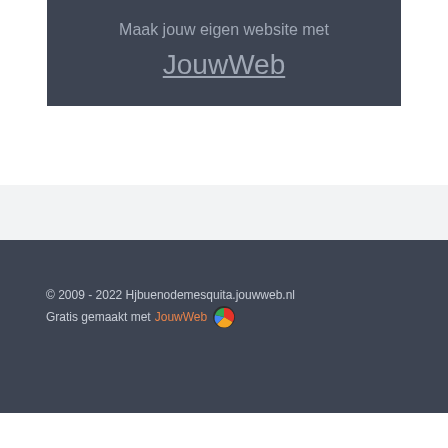Maak jouw eigen website met JouwWeb
© 2009 - 2022 Hjbuenodemesquita.jouwweb.nl
Gratis gemaakt met JouwWeb